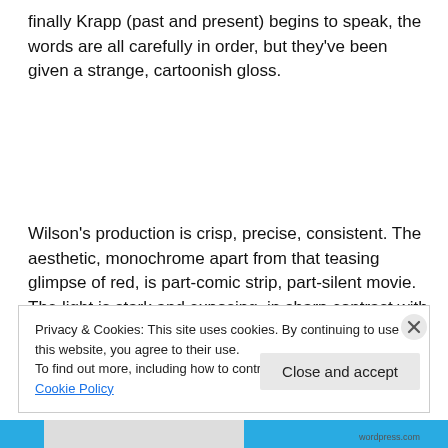finally Krapp (past and present) begins to speak, the words are all carefully in order, but they've been given a strange, cartoonish gloss.
Wilson's production is crisp, precise, consistent. The aesthetic, monochrome apart from that teasing glimpse of red, is part-comic strip, part-silent movie. The light is stark and exposing, in sharp contrast with the
Privacy & Cookies: This site uses cookies. By continuing to use this website, you agree to their use.
To find out more, including how to control cookies, see here: Cookie Policy